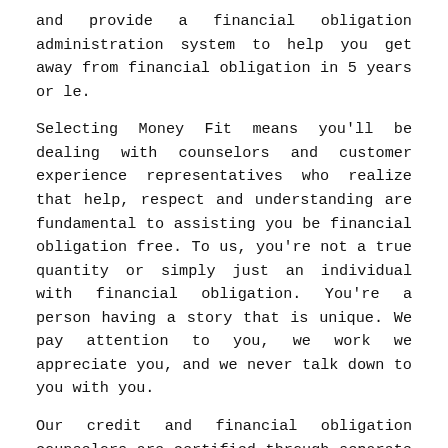and provide a financial obligation administration system to help you get away from financial obligation in 5 years or le.
Selecting Money Fit means you'll be dealing with counselors and customer experience representatives who realize that help, respect and understanding are fundamental to assisting you be financial obligation free. To us, you're not a true quantity or simply just an individual with financial obligation. You're a person having a story that is unique. We pay attention to you, we work we appreciate you, and we never talk down to you with you.
Our credit and financial obligation counselors are certified through separate third-party programs, ensuring we have been ready as well in your unique financial needs as we can to aist you.
Ranking 43rd on the list of 50 states and also the District of Columbia, Bay Staters generally carry among the cheapest credit that is monthly balances in the united kingdom at nearly $6,300. Nevertheless, at the